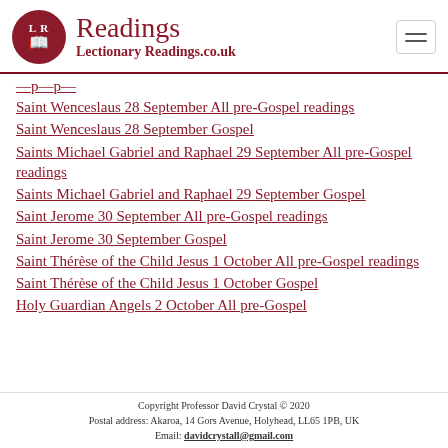Readings | LectionaryReadings.co.uk
Saint Wenceslaus 28 September All pre-Gospel readings
Saint Wenceslaus 28 September Gospel
Saints Michael Gabriel and Raphael 29 September All pre-Gospel readings
Saints Michael Gabriel and Raphael 29 September Gospel
Saint Jerome 30 September All pre-Gospel readings
Saint Jerome 30 September Gospel
Saint Thérèse of the Child Jesus 1 October All pre-Gospel readings
Saint Thérèse of the Child Jesus 1 October Gospel
Holy Guardian Angels 2 October All pre-Gospel
Copyright Professor David Crystal © 2020
Postal address: Akaroa, 14 Gors Avenue, Holyhead, LL65 1PB, UK
Email: davidcrystall@gmail.com